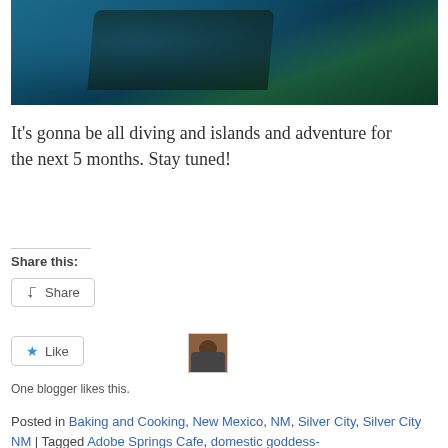[Figure (photo): Underwater photo showing a shipwreck or underwater structure with marine growth, blue-green water]
It's gonna be all diving and islands and adventure for the next 5 months. Stay tuned!
Share this:
Share
Like
One blogger likes this.
Posted in Baking and Cooking, New Mexico, NM, Silver City, Silver City NM | Tagged Adobe Springs Cafe, domestic goddess-